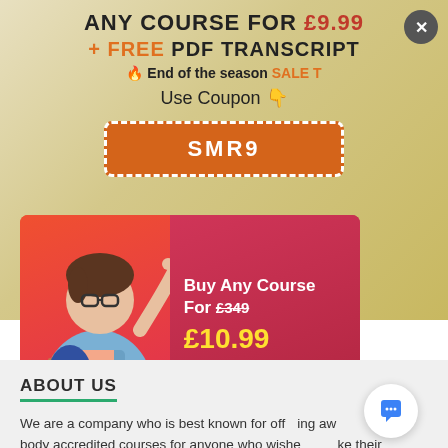ANY COURSE FOR £9.99
+ FREE PDF TRANSCRIPT
🔥 End of the season SALE T
Use Coupon 👇
SMR9
[Figure (illustration): Promotional banner showing an excited student with glasses holding books, on an orange-red background. Text reads: Buy Any Course For £349 £10.99]
ABOUT US
We are a company who is best known for off[ering] awarding body accredited courses for anyone who wishe[s to ta]ke their professional life to the next level.